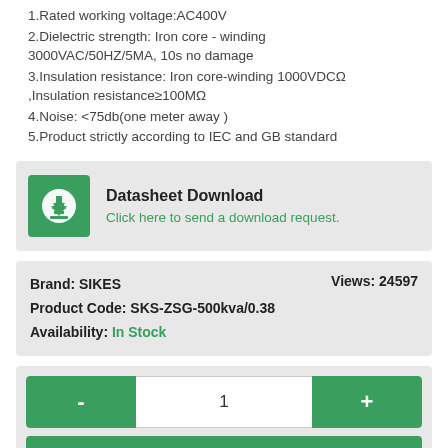1.Rated working voltage:AC400V
2.Dielectric strength: Iron core - winding 3000VAC/50HZ/5MA, 10s no damage
3.Insulation resistance: Iron core-winding 1000VDCΩ ,Insulation resistance≥100MΩ
4.Noise: <75db(one meter away )
5.Product strictly according to IEC and GB standard
[Figure (other): Datasheet Download button with green download icon]
Datasheet Download
Click here to send a download request.
Brand: SIKES   Views: 24597
Product Code: SKS-ZSG-500kva/0.38
Availability: In Stock
[Figure (other): Quantity selector with minus button, value 1, plus button, and Add to order list button]